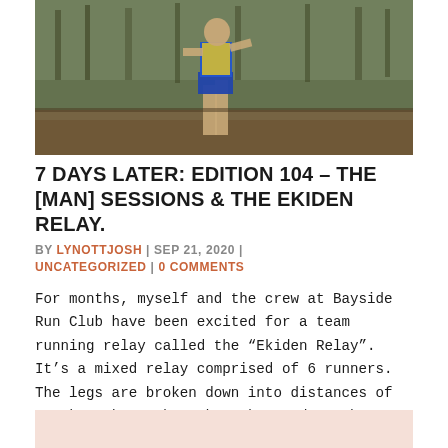[Figure (photo): A runner in a blue and yellow singlet running through a wooded trail or park setting]
7 DAYS LATER: EDITION 104 – THE [MAN] SESSIONS & THE EKIDEN RELAY.
BY LYNOTTJOSH | SEP 21, 2020 | UNCATEGORIZED | 0 COMMENTS
For months, myself and the crew at Bayside Run Club have been excited for a team running relay called the "Ekiden Relay". It's a mixed relay comprised of 6 runners. The legs are broken down into distances of 6.95km, 4km, 10km, 8km, 6km, and another 8km. We were...
[Figure (photo): Bottom preview image with pink/peach background, partially visible]